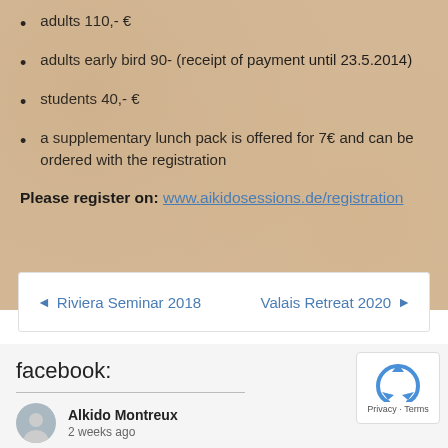adults 110,- €
adults early bird 90- (receipt of payment until 23.5.2014)
students 40,- €
a supplementary lunch pack is offered for 7€ and can be ordered with the registration
Please register on: www.aikidosessions.de/registration
◄  Riviera Seminar 2018          Valais Retreat 2020  ►
facebook:
Alkido Montreux
2 weeks ago